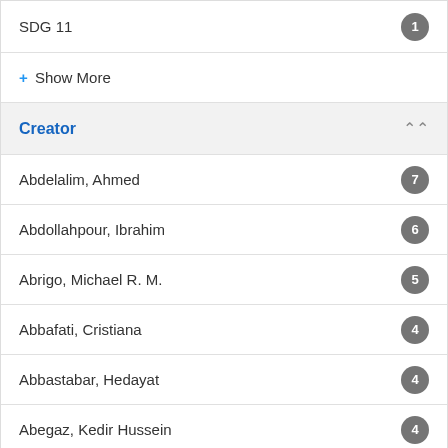SDG 11  1
+ Show More
Creator
Abdelalim, Ahmed  7
Abdollahpour, Ibrahim  6
Abrigo, Michael R. M.  5
Abbafati, Cristiana  4
Abbastabar, Hedayat  4
Abegaz, Kedir Hussein  4
Aboyans, Victor  4
Abualhasan, Ahmed  4